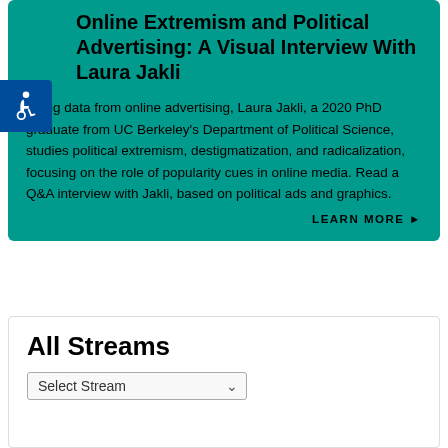Online Extremism and Political Advertising: A Visual Interview With Laura Jakli
Using data from online advertising, Laura Jakli, a 2020 PhD graduate from UC Berkeley's Department of Political Science, studies political extremism, destigmatization, and radicalization, focusing on the role of popularity cues in online media. Read a Q&A interview with Jakli, based on political ads and graphics.
LEARN MORE ▶
All Streams
Select Stream